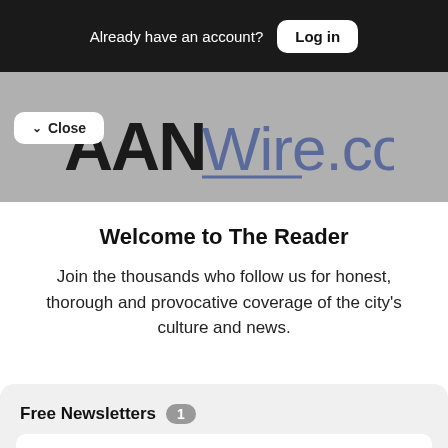Already have an account? Log in
[Figure (logo): AANWire.com logo on gray background with Close button overlay]
Welcome to The Reader
Join the thousands who follow us for honest, thorough and provocative coverage of the city's culture and news.
Free Newsletters 1
Reed Moore
Daily email wrapping up the top local news and events — linking to where you can read more, from Reed Moore, that clever linker